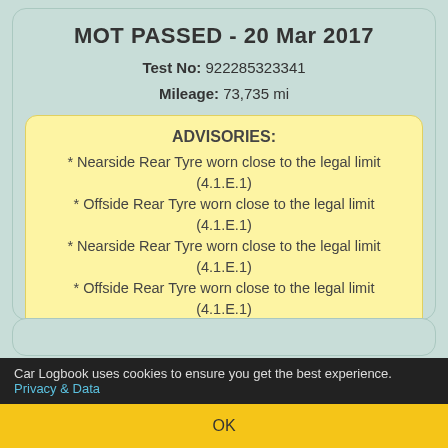MOT PASSED - 20 Mar 2017
Test No: 922285323341
Mileage: 73,735 mi
ADVISORIES:
* Nearside Rear Tyre worn close to the legal limit (4.1.E.1)
* Offside Rear Tyre worn close to the legal limit (4.1.E.1)
* Nearside Rear Tyre worn close to the legal limit (4.1.E.1)
* Offside Rear Tyre worn close to the legal limit (4.1.E.1)
Car Logbook uses cookies to ensure you get the best experience. Privacy & Data
OK